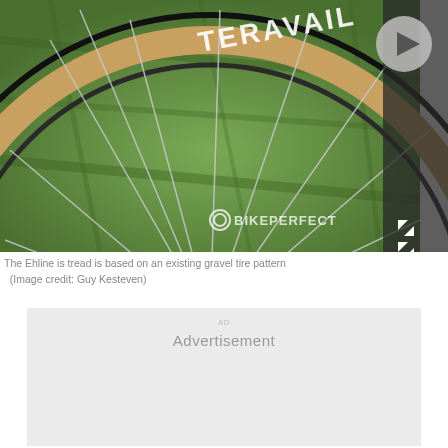[Figure (photo): Close-up photo of a bicycle wheel with a Teravail Ehline tire on grass background, with BikePerfect watermark logo visible. A play button icon is shown in the upper right area. An expand icon is in the lower right corner.]
The Ehline is tread is based on an existing gravel tire pattern (Image credit: Guy Kesteven)
Advertisement